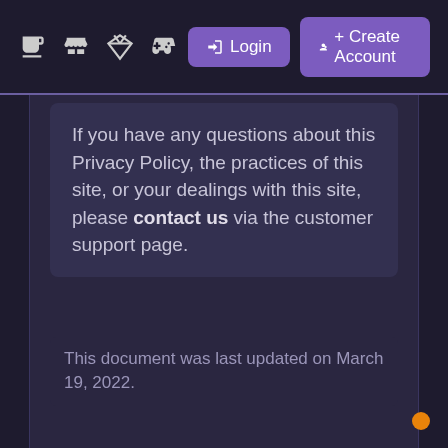[nav icons] Login  Create Account
If you have any questions about this Privacy Policy, the practices of this site, or your dealings with this site, please contact us via the customer support page.
This document was last updated on March 19, 2022.